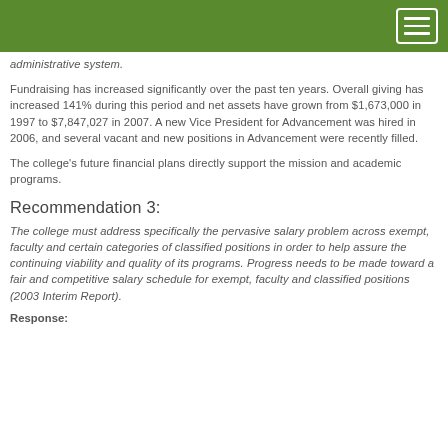administrative system.
Fundraising has increased significantly over the past ten years. Overall giving has increased 141% during this period and net assets have grown from $1,673,000 in 1997 to $7,847,027 in 2007. A new Vice President for Advancement was hired in 2006, and several vacant and new positions in Advancement were recently filled.
The college’s future financial plans directly support the mission and academic programs.
Recommendation 3:
The college must address specifically the pervasive salary problem across exempt, faculty and certain categories of classified positions in order to help assure the continuing viability and quality of its programs. Progress needs to be made toward a fair and competitive salary schedule for exempt, faculty and classified positions (2003 Interim Report).
Response: